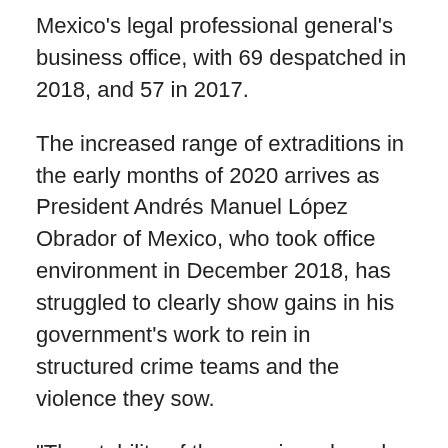Mexico's legal professional general's business office, with 69 despatched in 2018, and 57 in 2017.
The increased range of extraditions in the early months of 2020 arrives as President Andrés Manuel López Obrador of Mexico, who took office environment in December 2018, has struggled to clearly show gains in his government's work to rein in structured crime teams and the violence they sow.
“The stability of the area is a shared responsibility,” Mexico’s overseas ministry reported in a statement late Monday. “All of Mexico’s steps on safety, including extraditions, comply with our present-day legal framework and reply to the nationwide curiosity and the motivation to deliver security for Mexicans.”
Past 12 months, Mexico recorded a lot more than 34,500